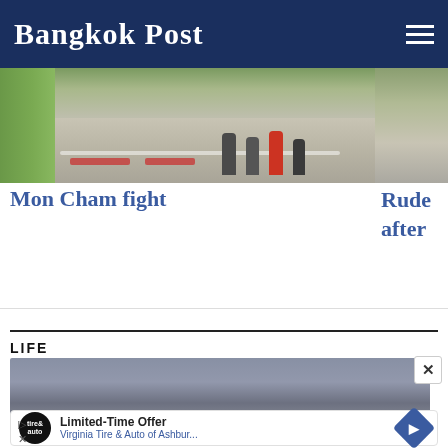Bangkok Post
[Figure (photo): Outdoor scene showing people walking on a paved area with painted markings, grass visible at left edge. Partially cropped second image at right edge.]
Mon Cham fight
Rude after
LIFE
[Figure (photo): Partially visible image with dark grayish-blue gradient background, content of Life section.]
[Figure (infographic): Advertisement overlay: Limited-Time Offer - Virginia Tire & Auto of Ashbur... with Tire & Auto logo and blue diamond navigation arrow icon.]